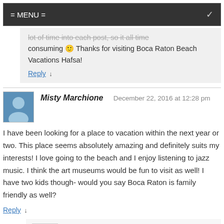= MENU =
lot of time into each post, so it all time consuming 🙂 Thanks for visiting Boca Raton Beach Vacations Hafsa!
Reply ↓
Misty Marchione   December 22, 2016 at 12:28 pm
I have been looking for a place to vacation within the next year or two. This place seems absolutely amazing and definitely suits my interests! I love going to the beach and I enjoy listening to jazz music. I think the art museums would be fun to visit as well! I have two kids though- would you say Boca Raton is family friendly as well?
Reply ↓
Leahrae (Post author)   December 23, 2016 at 3:05 pm